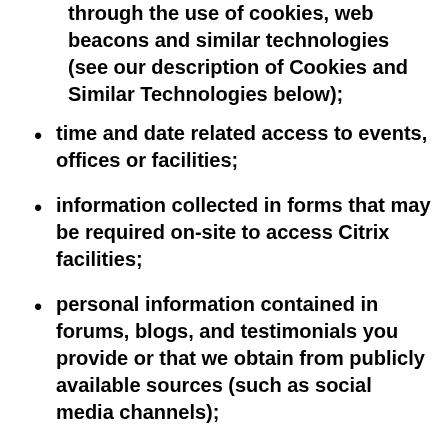through the use of cookies, web beacons and similar technologies (see our description of Cookies and Similar Technologies below);
time and date related access to events, offices or facilities;
information collected in forms that may be required on-site to access Citrix facilities;
personal information contained in forums, blogs, and testimonials you provide or that we obtain from publicly available sources (such as social media channels);
information related to participation in classroom or online training, including